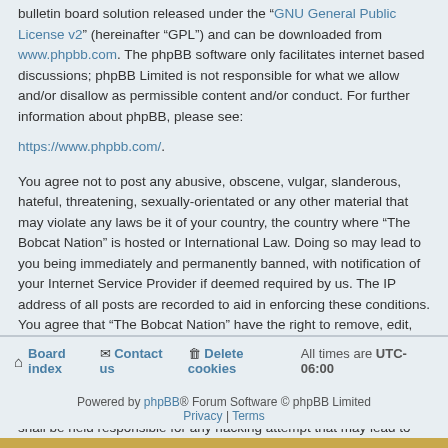bulletin board solution released under the "GNU General Public License v2" (hereinafter "GPL") and can be downloaded from www.phpbb.com. The phpBB software only facilitates internet based discussions; phpBB Limited is not responsible for what we allow and/or disallow as permissible content and/or conduct. For further information about phpBB, please see: https://www.phpbb.com/.
You agree not to post any abusive, obscene, vulgar, slanderous, hateful, threatening, sexually-orientated or any other material that may violate any laws be it of your country, the country where “The Bobcat Nation” is hosted or International Law. Doing so may lead to you being immediately and permanently banned, with notification of your Internet Service Provider if deemed required by us. The IP address of all posts are recorded to aid in enforcing these conditions. You agree that “The Bobcat Nation” have the right to remove, edit, move or close any topic at any time should we see fit. As a user you agree to any information you have entered to being stored in a database. While this information will not be disclosed to any third party without your consent, neither “The Bobcat Nation” nor phpBB shall be held responsible for any hacking attempt that may lead to the data being compromised.
Board index | Contact us | Delete cookies | All times are UTC-06:00
Powered by phpBB® Forum Software © phpBB Limited | Privacy | Terms